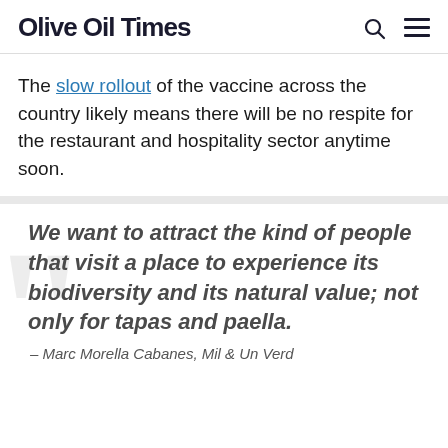Olive Oil Times
The slow rollout of the vaccine across the country likely means there will be no respite for the restaurant and hospitality sector anytime soon.
We want to attract the kind of people that visit a place to experience its biodiversity and its natural value; not only for tapas and paella.
– Marc Morella Cabanes, Mil & Un Verd